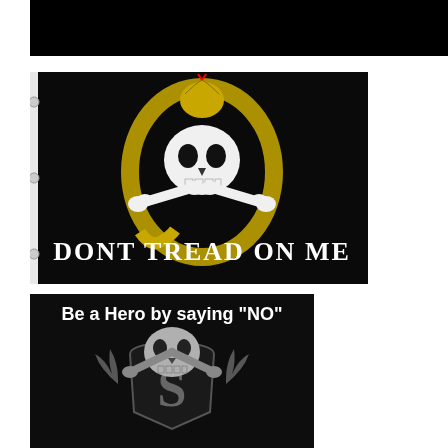[Figure (photo): Black banner/header image at the top of the page]
[Figure (photo): Black flag with skull, crossbones, and yellow snake wrapped around the skull. Text reads 'DONT TREAD ON ME' in white serif font at the bottom. Flag has grommets on the left side.]
[Figure (photo): Dark image with skull and crossbones over a Superman-style shield emblem. White text at the top reads: Be a Hero by saying "NO"]